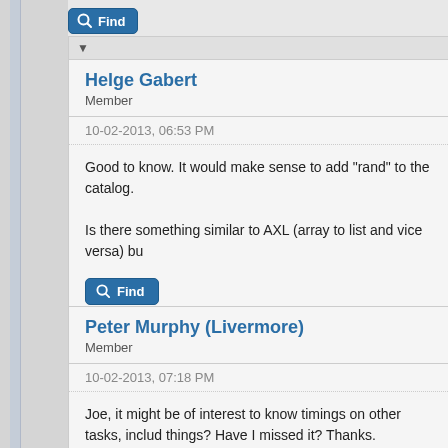[Figure (screenshot): Find button at top of page, blue rounded rectangle with magnifying glass icon and text 'Find']
▼
Helge Gabert
Member
10-02-2013, 06:53 PM
Good to know. It would make sense to add "rand" to the catalog.

Is there something similar to AXL (array to list and vice versa) bu
[Figure (screenshot): Find button, blue rounded rectangle with magnifying glass icon and text 'Find']
Peter Murphy (Livermore)
Member
10-02-2013, 07:18 PM
Joe, it might be of interest to know timings on other tasks, includ things? Have I missed it? Thanks.